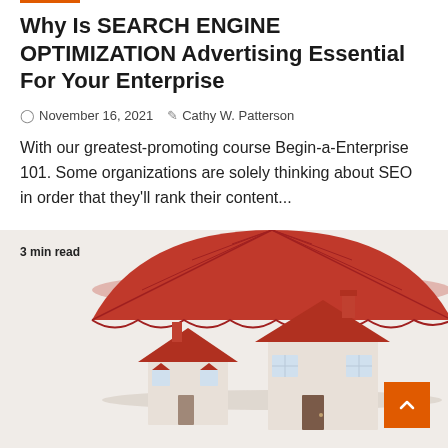Why Is SEARCH ENGINE OPTIMIZATION Advertising Essential For Your Enterprise
November 16, 2021   Cathy W. Patterson
With our greatest-promoting course Begin-a-Enterprise 101. Some organizations are solely thinking about SEO in order that they'll rank their content...
3 min read
[Figure (illustration): A large red umbrella sheltering two small model houses, suggesting protection or insurance coverage, set against a light beige background.]